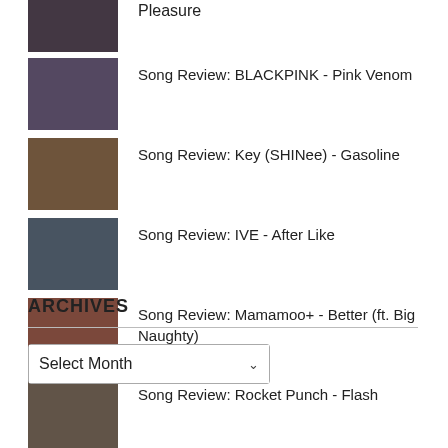Pleasure
Song Review: BLACKPINK - Pink Venom
Song Review: Key (SHINee) - Gasoline
Song Review: IVE - After Like
Song Review: Mamamoo+ - Better (ft. Big Naughty)
Song Review: Rocket Punch - Flash
ARCHIVES
Select Month